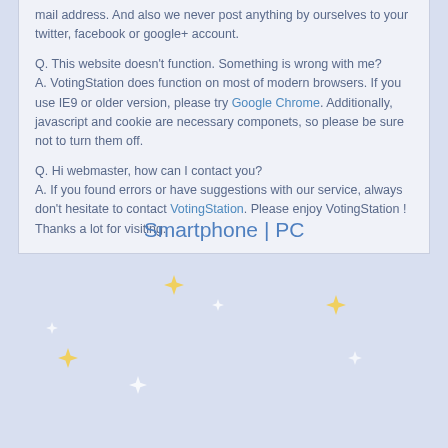mail address. And also we never post anything by ourselves to your twitter, facebook or google+ account.

Q. This website doesn't function. Something is wrong with me?
A. VotingStation does function on most of modern browsers. If you use IE9 or older version, please try Google Chrome. Additionally, javascript and cookie are necessary componets, so please be sure not to turn them off.

Q. Hi webmaster, how can I contact you?
A. If you found errors or have suggestions with our service, always don't hesitate to contact VotingStation. Please enjoy VotingStation ! Thanks a lot for visiting.
Smartphone | PC
[Figure (illustration): Decorative sparkle/star shapes on a light blue-lavender background, scattered across the lower portion of the page. Stars are yellow and white colored.]